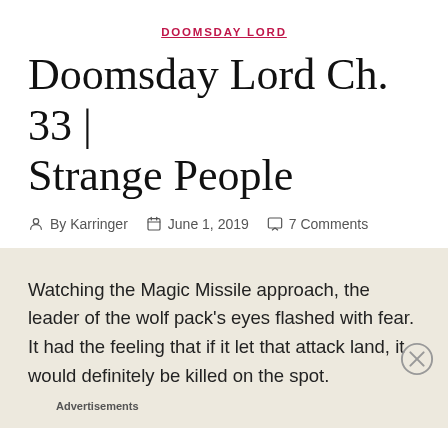DOOMSDAY LORD
Doomsday Lord Ch. 33 | Strange People
By Karringer   June 1, 2019   7 Comments
Watching the Magic Missile approach, the leader of the wolf pack's eyes flashed with fear. It had the feeling that if it let that attack land, it would definitely be killed on the spot.
Advertisements